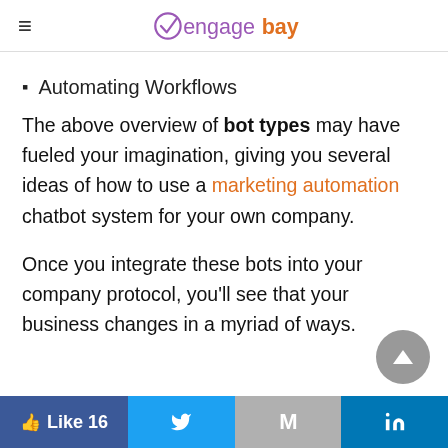EngageBay
Automating Workflows
The above overview of bot types may have fueled your imagination, giving you several ideas of how to use a marketing automation chatbot system for your own company.
Once you integrate these bots into your company protocol, you'll see that your business changes in a myriad of ways.
Like 16 | Twitter | Gmail | LinkedIn